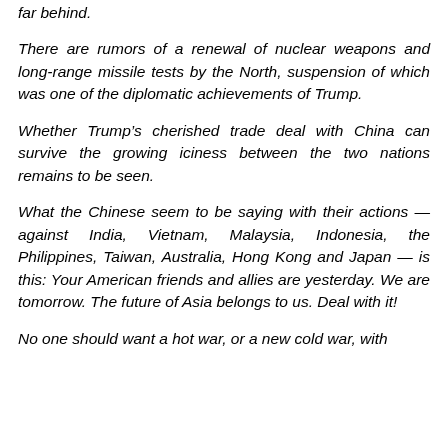far behind.
There are rumors of a renewal of nuclear weapons and long-range missile tests by the North, suspension of which was one of the diplomatic achievements of Trump.
Whether Trump’s cherished trade deal with China can survive the growing iciness between the two nations remains to be seen.
What the Chinese seem to be saying with their actions — against India, Vietnam, Malaysia, Indonesia, the Philippines, Taiwan, Australia, Hong Kong and Japan — is this: Your American friends and allies are yesterday. We are tomorrow. The future of Asia belongs to us. Deal with it!
No one should want a hot war, or a new cold war, with